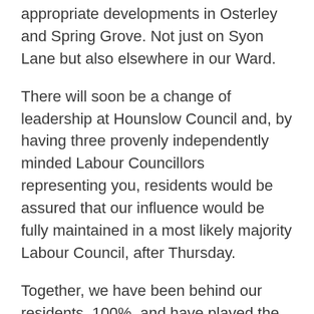appropriate developments in Osterley and Spring Grove. Not just on Syon Lane but also elsewhere in our Ward.
There will soon be a change of leadership at Hounslow Council and, by having three provenly independently minded Labour Councillors representing you, residents would be assured that our influence would be fully maintained in a most likely majority Labour Council, after Thursday.
Together, we have been behind our residents, 100%, and have played the active part that our